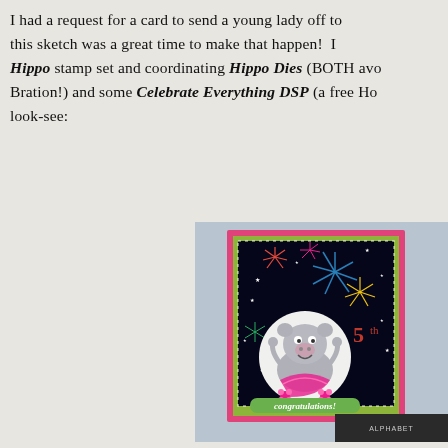I had a request for a card to send a young lady off to this sketch was a great time to make that happen! I Hippo stamp set and coordinating Hippo Dies (BOTH avo Bration!) and some Celebrate Everything DSP (a free Ho look-see:
[Figure (photo): A handmade birthday card featuring a cute hippo character wearing a pink tutu, holding a '5th' badge, on a dark background with colorful fireworks pattern (Celebrate Everything DSP). The card has a pink outer mat, lime green inner mat, and a 'congratulations!' banner at the bottom. The card is displayed propped up against crafting supplies including what appears to be an alphabet stamp set.]